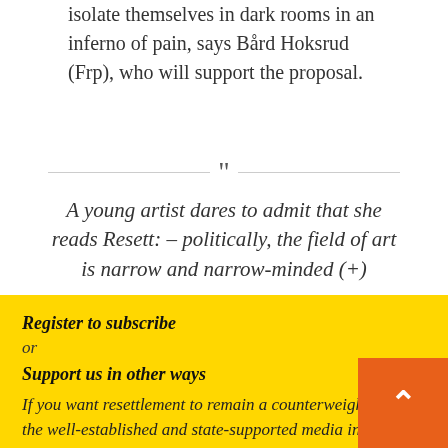isolate themselves in dark rooms in an inferno of pain, says Bård Hoksrud (Frp), who will support the proposal.
A young artist dares to admit that she reads Resett: – politically, the field of art is narrow and narrow-minded (+)
Register to subscribe
or
Support us in other ways
If you want resettlement to remain a counterweight the well-established and state-supported media in Norway.